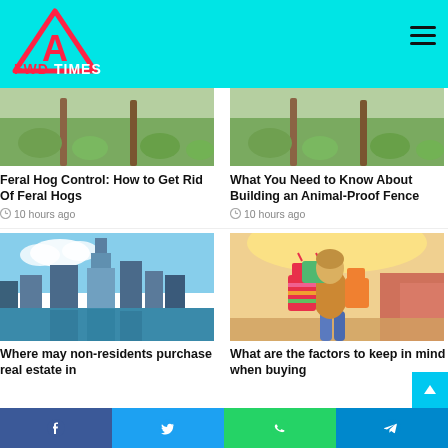[Figure (logo): FWD Times logo with red triangle/mountain icon and FWD TIMES text on cyan header background]
[Figure (photo): Grass field with fence posts - Feral Hog Control article image (left)]
Feral Hog Control: How to Get Rid Of Feral Hogs
10 hours ago
[Figure (photo): Grass field with fence posts - Animal-Proof Fence article image (right)]
What You Need to Know About Building an Animal-Proof Fence
10 hours ago
[Figure (photo): Dubai skyline with Burj Khalifa reflecting on water]
Where may non-residents purchase real estate in
[Figure (photo): Woman with shopping bags in a mall, blurred motion]
What are the factors to keep in mind when buying